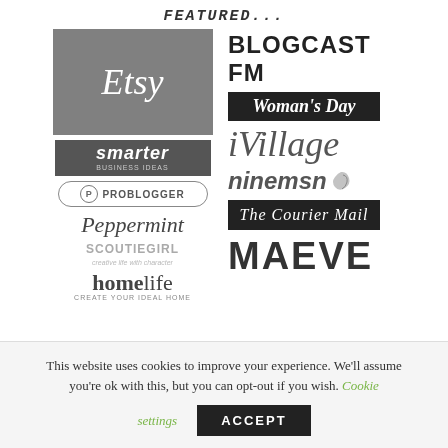FEATURED...
[Figure (logo): Grid of media/publication logos: Etsy, BLOGCAST FM, Woman's Day, smarter business ideas, iVillage, ProBlogger, Peppermint, ninemsn, Scoutie Girl, The Courier Mail, homelife, MAEVE]
This website uses cookies to improve your experience. We'll assume you're ok with this, but you can opt-out if you wish. Cookie settings ACCEPT